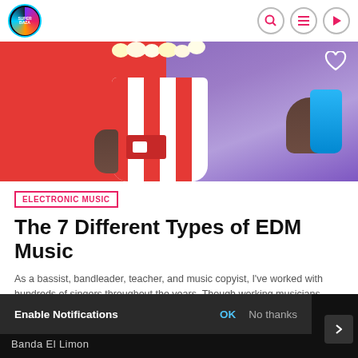Super Baza — navigation bar with logo, search, menu, and play icons
[Figure (photo): Hero image: person in purple hoodie holding a red-and-white striped popcorn bucket and a blue cup against a red background]
ELECTRONIC MUSIC
The 7 Different Types of EDM Music
As a bassist, bandleader, teacher, and music copyist, I've worked with hundreds of singers throughout the years. Though working musicians know hundreds of tunes, singers need to have good…
MARZO 21, 2020  8
Enable Notifications  OK  No thanks
Banda El Limon